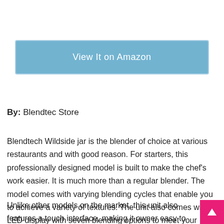[Figure (other): Blue button labeled 'View It on Amazon']
By: Blendtec Store
Blendtech Wildside jar is the blender of choice at various restaurants and with good reason. For starters, this professionally designed model is built to make the chef's work easier. It is much more than a regular blender. The model comes with varying blending cycles that enable you to achieve a variety of textures. The unit also comes with a LED display with seven blending options to meet your need.
Unlike other models on the market, this unit also features a touch interface, making it owner easy to use. The advanced